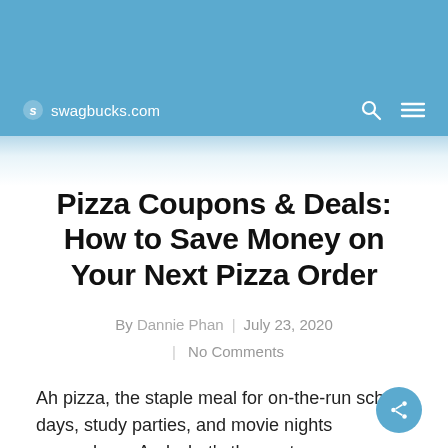swagbucks.com
Pizza Coupons & Deals: How to Save Money on Your Next Pizza Order
By Dannie Phan | July 23, 2020 | No Comments
Ah pizza, the staple meal for on-the-run school days, study parties, and movie nights everywhere. And what's the next